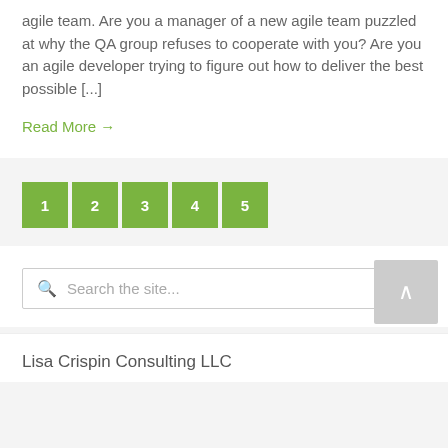agile team. Are you a manager of a new agile team puzzled at why the QA group refuses to cooperate with you? Are you an agile developer trying to figure out how to deliver the best possible [...]
Read More →
1 2 3 4 5
Search the site...
Lisa Crispin Consulting LLC